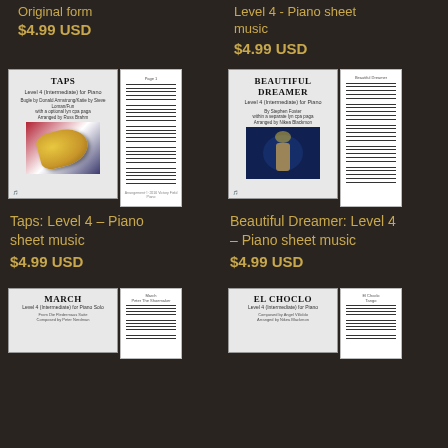Original form
$4.99 USD
Level 4 - Piano sheet music
$4.99 USD
[Figure (illustration): Taps sheet music cover with trumpet and American flag image, Level 4 Intermediate for Piano, plus notation preview page]
Taps: Level 4 - Piano sheet music
$4.99 USD
[Figure (illustration): Beautiful Dreamer sheet music cover with performer on stage image, Level 4 Intermediate for Piano, plus notation preview page]
Beautiful Dreamer: Level 4 - Piano sheet music
$4.99 USD
[Figure (illustration): March sheet music cover, Level 4 Intermediate for Piano Solo, partially visible at bottom]
[Figure (illustration): El Choclo sheet music cover, Level 4 Intermediate for Piano, partially visible at bottom]